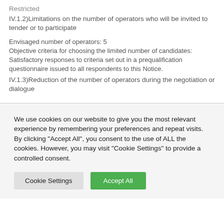Restricted
IV.1.2)Limitations on the number of operators who will be invited to tender or to participate
Envisaged number of operators: 5
Objective criteria for choosing the limited number of candidates: Satisfactory responses to criteria set out in a prequalification questionnaire issued to all respondents to this Notice.
IV.1.3)Reduction of the number of operators during the negotiation or dialogue
We use cookies on our website to give you the most relevant experience by remembering your preferences and repeat visits. By clicking "Accept All", you consent to the use of ALL the cookies. However, you may visit "Cookie Settings" to provide a controlled consent.
Cookie Settings | Accept All